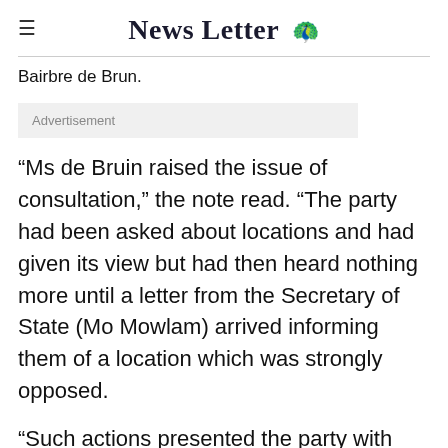News Letter
Bairbre de Brun.
Advertisement
“Ms de Bruin raised the issue of consultation,” the note read. “The party had been asked about locations and had given its view but had then heard nothing more until a letter from the Secretary of State (Mo Mowlam) arrived informing them of a location which was strongly opposed.
“Such actions presented the party with enormous yet unnecessary problems within the